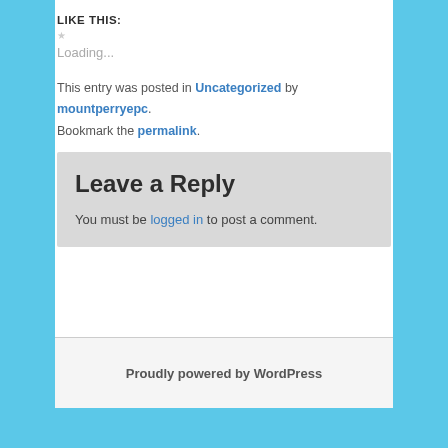LIKE THIS:
Loading...
This entry was posted in Uncategorized by mountperryepc. Bookmark the permalink.
Leave a Reply
You must be logged in to post a comment.
Proudly powered by WordPress